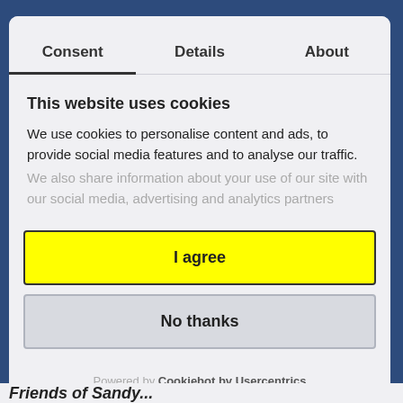Consent | Details | About
This website uses cookies
We use cookies to personalise content and ads, to provide social media features and to analyse our traffic.
We also share information about your use of our site with our social media, advertising and analytics partners
I agree
No thanks
Powered by Cookiebot by Usercentrics